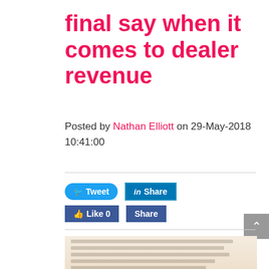final say when it comes to dealer revenue
Posted by Nathan Elliott on 29-May-2018 10:41:00
[Figure (screenshot): Blurred document image showing rows of financial data/numbers, partially visible at bottom of page]